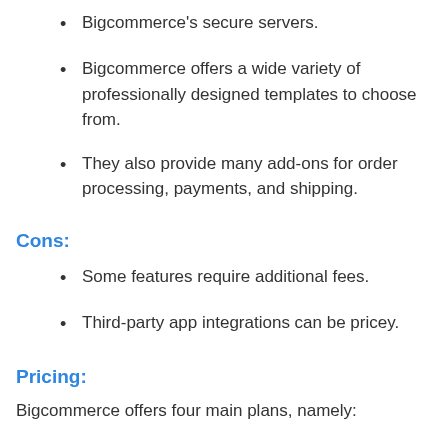Bigcommerce's secure servers.
Bigcommerce offers a wide variety of professionally designed templates to choose from.
They also provide many add-ons for order processing, payments, and shipping.
Cons:
Some features require additional fees.
Third-party app integrations can be pricey.
Pricing:
Bigcommerce offers four main plans, namely: